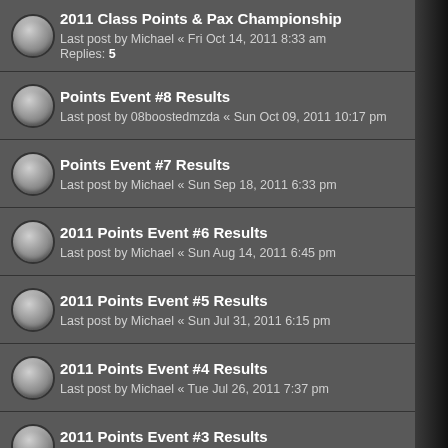2011 Class Points & Pax Championship
Last post by Michael « Fri Oct 14, 2011 8:33 am
Replies: 5
Points Event #8 Results
Last post by 08boostedmzda « Sun Oct 09, 2011 10:17 pm
Points Event #7 Results
Last post by Michael « Sun Sep 18, 2011 6:33 pm
2011 Points Event #6 Results
Last post by Michael « Sun Aug 14, 2011 6:45 pm
2011 Points Event #5 Results
Last post by Michael « Sun Jul 31, 2011 6:15 pm
2011 Points Event #4 Results
Last post by Michael « Tue Jul 26, 2011 7:37 pm
2011 Points Event #3 Results
Last post by Michael « Tue Jul 26, 2011 7:36 pm
2011 Points Event #2 Results
Last post by Michael « Tue Jul 26, 2011 7:36 pm
2011 Points Event #1 Results
Last post by Michael « Sun Apr 17, 2011 8:15 pm